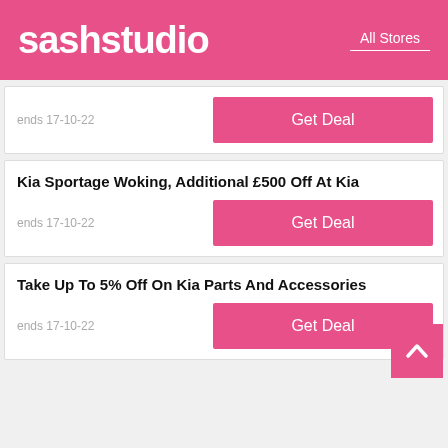sashstudio  All Stores
ends 17-10-22
Get Deal
Kia Sportage Woking, Additional £500 Off At Kia
ends 17-10-22
Get Deal
Take Up To 5% Off On Kia Parts And Accessories
ends 17-10-22
Get Deal